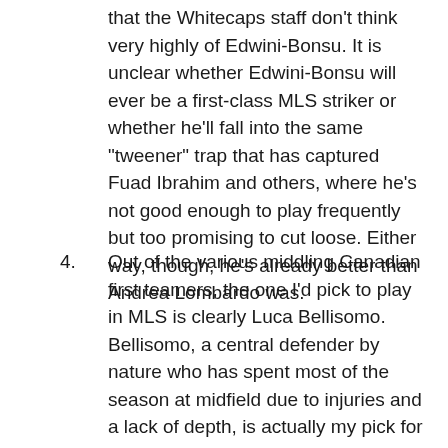that the Whitecaps staff don't think very highly of Edwini-Bonsu. It is unclear whether Edwini-Bonsu will ever be a first-class MLS striker or whether he'll fall into the same "tweener" trap that has captured Fuad Ibrahim and others, where he's not good enough to play frequently but too promising to cut loose. Either way, though, he's already better than Andrea Lombardo was.
4. Out of the various middling Canadian first teamers, the one I'd pick to play in MLS is clearly Luca Bellisomo. Bellisomo, a central defender by nature who has spent most of the season at midfield due to injuries and a lack of depth, is actually my pick for the Whitecaps' MVP this season on account of his durability, his versatility, and a fairly good goalscoring record. While I'm not under any